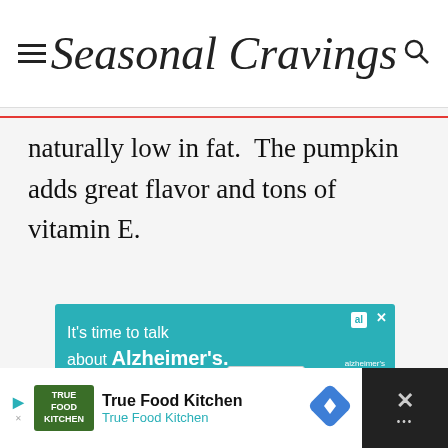Seasonal Cravings
naturally low in fat.  The pumpkin adds great flavor and tons of vitamin E.
[Figure (other): Teal advertisement banner: 'It's time to talk about Alzheimer's.' with LEARN MORE button and Alzheimer's Association logo]
[Figure (other): Bottom advertisement bar for True Food Kitchen with navigation icon and close button]